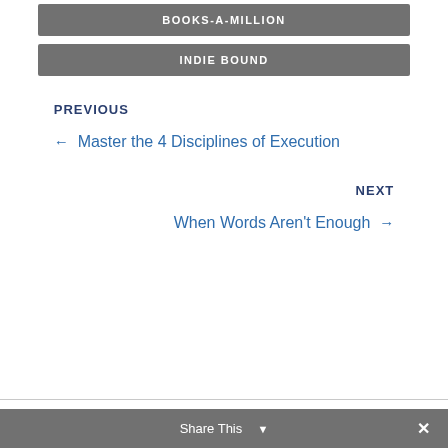BOOKS-A-MILLION
INDIE BOUND
PREVIOUS
← Master the 4 Disciplines of Execution
NEXT
When Words Aren't Enough →
Share This ∨  ✕